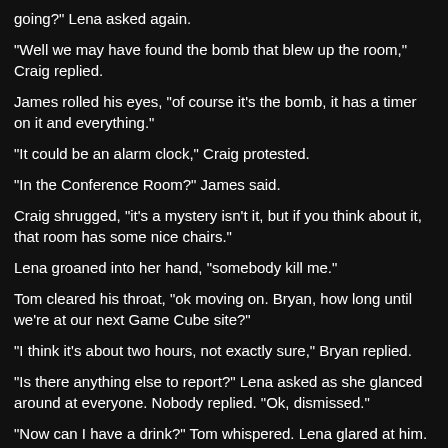going?" Lena asked again.
"Well we may have found the bomb that blew up the room," Craig replied.
James rolled his eyes, "of course it's the bomb, it has a timer on it and everything."
"It could be an alarm clock," Craig protested.
"In the Conference Room?" James said.
Craig shrugged, "it's a mystery isn't it, but if you think about it, that room has some nice chairs."
Lena groaned into her hand, "somebody kill me."
Tom cleared his throat, "ok moving on. Bryan, how long until we're at our next Game Cube site?"
"I think it's about two hours, not exactly sure," Bryan replied.
"Is there anything else to report?" Lena asked as she glanced around at everyone. Nobody replied. "Ok, dismissed."
"Now can I have a drink?" Tom whispered. Lena glared at him. "Ok after duty then," he stuttered. He followed everyone out of the room.
Meanwhile in the Alpha Quadrant, Dry Dock:
Three starships were docked nearby each other, several shuttles flew